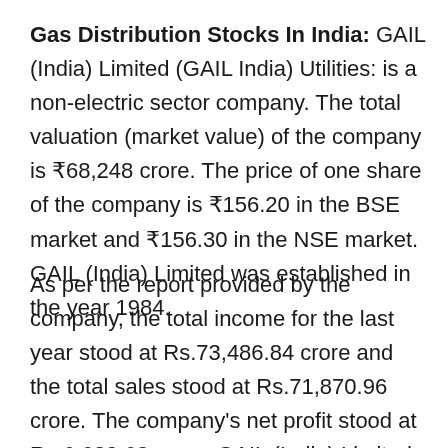Gas Distribution Stocks In India: GAIL (India) Limited (GAIL India) Utilities: is a non-electric sector company. The total valuation (market value) of the company is ₹68,248 crore. The price of one share of the company is ₹156.20 in the BSE market and ₹156.30 in the NSE market. GAIL (India) Limited was established in the year 1984.
As per the report provided by the company, the total income for the last year stood at Rs.73,486.84 crore and the total sales stood at Rs.71,870.96 crore. The company's net profit stood at Rs 6,620.63 crore. GAIL (India) Limited has paid tax of Rs -1,955.52 crore in